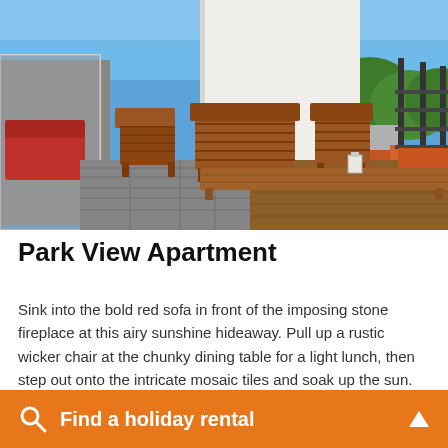[Figure (photo): Rooftop terrace with wooden outdoor furniture (chairs, benches, coffee table) set on a tiled deck, with a white wall building, black metal railing, and a scenic view of orange-roofed buildings and green trees under a blue sky.]
Park View Apartment
Sink into the bold red sofa in front of the imposing stone fireplace at this airy sunshine hideaway. Pull up a rustic wicker chair at the chunky dining table for a light lunch, then step out onto the intricate mosaic tiles and soak up the sun. 77 sqm
Find a holiday rental